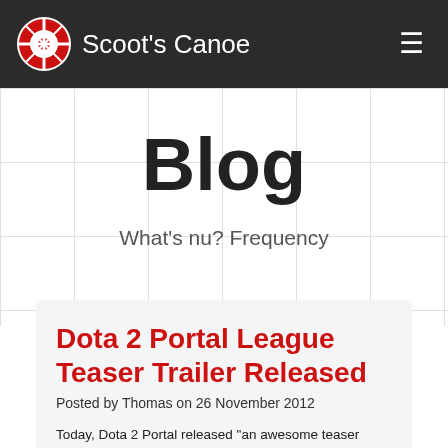Scoot's Canoe
Blog
What's nu? Frequency
Dota 2 Portal League Teaser Trailer Released
Posted by Thomas on 26 November 2012
Today, Dota 2 Portal released "an awesome teaser trailer":http://www.youtube.com/watch?v=0WMxniY4WTo for the "Dota 2 Portal League":http://www.dota2portal.org/h88-d2p-league. Hats off to the organizers of the League for what has so far been a very smooth and well-run league, and thanks for the sick trailer!